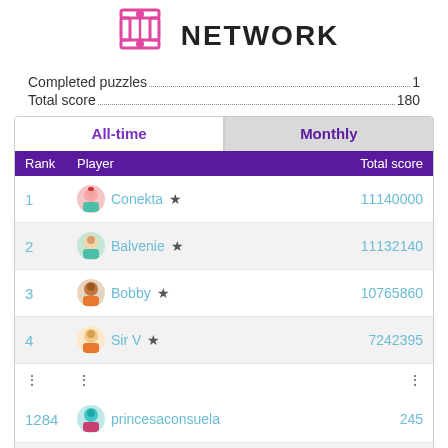[Figure (logo): Pink puzzle/network logo icon with connected rectangles]
NETWORK
Completed puzzles...............................................1
Total score.......................................................180
| All-time | Monthly | Rank | Player | Total score |
| --- | --- | --- | --- |
| 1 | Conekta ★ | 11140000 |
| 2 | Balvenie ★ | 11132140 |
| 3 | Bobby ★ | 10765860 |
| 4 | Sir V ★ | 7242395 |
| ⋮ | ⋮ | ⋮ |
| 1284 | princesaconsuela | 245 |
| 1285 | yuvalJAZZ | 245 |